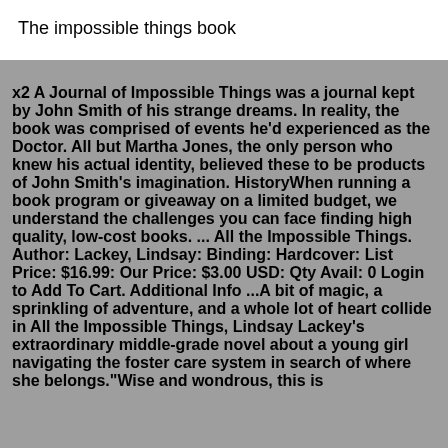The impossible things book
x2 A Journal of Impossible Things was a journal kept by John Smith of his strange dreams. In reality, the book was comprised of events he'd experienced as the Doctor. All but Martha Jones, the only person who knew his actual identity, believed these to be products of John Smith's imagination. HistoryWhen running a book program or giveaway on a limited budget, we understand the challenges you can face finding high quality, low-cost books. ... All the Impossible Things. Author: Lackey, Lindsay: Binding: Hardcover: List Price: $16.99: Our Price: $3.00 USD: Qty Avail: 0 Login to Add To Cart. Additional Info ...A bit of magic, a sprinkling of adventure, and a whole lot of heart collide in All the Impossible Things, Lindsay Lackey's extraordinary middle-grade novel about a young girl navigating the foster care system in search of where she belongs."Wise and wondrous, this is